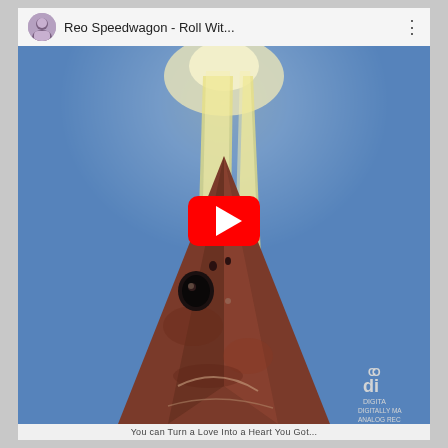[Figure (screenshot): Screenshot of a YouTube video player showing 'Reo Speedwagon - Roll Wit...' with a thumbnail image of a fish head (pointing upward like a cone) against a blue background with two yellow-white light beams shooting upward, and a red YouTube play button overlay in the center. Bottom right corner shows 'DIGITALLY MA... ANALOG REC...' text. Below the video is partially visible text.]